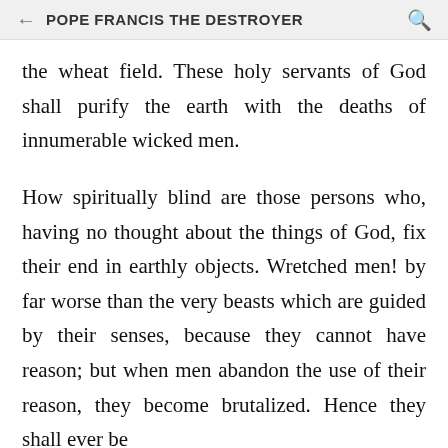POPE FRANCIS THE DESTROYER
the wheat field. These holy servants of God shall purify the earth with the deaths of innumerable wicked men.
How spiritually blind are those persons who, having no thought about the things of God, fix their end in earthly objects. Wretched men! by far worse than the very beasts which are guided by their senses, because they cannot have reason; but when men abandon the use of their reason, they become brutalized. Hence they shall ever be